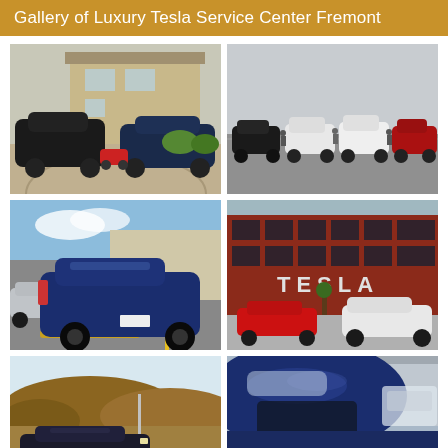Gallery of Luxury Tesla Service Center Fremont
[Figure (photo): Two Tesla cars parked in a residential driveway with a house in the background; a black Tesla and a blue Tesla, with a small red toy car visible between them.]
[Figure (photo): Four Tesla vehicles lined up in a parking lot: a black Model S/3, a white Model X, a white Model X, and a red Model 3, with people standing between the cars.]
[Figure (photo): Rear view of a deep blue Tesla Model Y parked in a parking lot, with another white/grey Tesla visible to the left.]
[Figure (photo): Tesla service center building with red brick facade, large TESLA logo on the front, and a red Model 3 and white Model X parked in front.]
[Figure (photo): A dark Tesla sedan parked on a dirt/gravel area with hills or mounds of earth behind it under a clear sky.]
[Figure (photo): Close-up of the roof and rear section of a blue Tesla vehicle, showing reflections and another vehicle or structure in the background.]